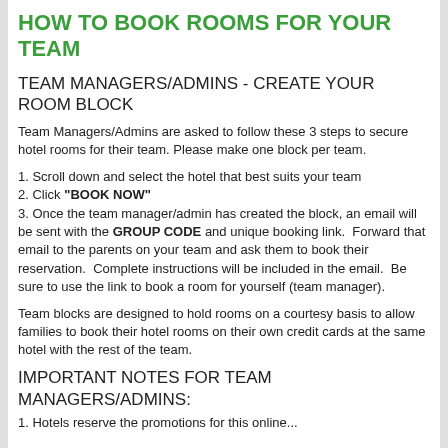HOW TO BOOK ROOMS FOR YOUR TEAM
TEAM MANAGERS/ADMINS - CREATE YOUR ROOM BLOCK
Team Managers/Admins are asked to follow these 3 steps to secure hotel rooms for their team. Please make one block per team.
1. Scroll down and select the hotel that best suits your team
2. Click "BOOK NOW"
3. Once the team manager/admin has created the block, an email will be sent with the GROUP CODE and unique booking link.  Forward that email to the parents on your team and ask them to book their reservation.  Complete instructions will be included in the email.  Be sure to use the link to book a room for yourself (team manager).
Team blocks are designed to hold rooms on a courtesy basis to allow families to book their hotel rooms on their own credit cards at the same hotel with the rest of the team.
IMPORTANT NOTES FOR TEAM MANAGERS/ADMINS:
1. Hotels reserve the promotions for this online...